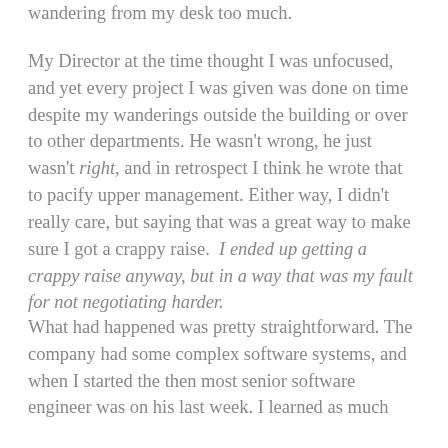wandering from my desk too much.
My Director at the time thought I was unfocused, and yet every project I was given was done on time despite my wanderings outside the building or over to other departments. He wasn't wrong, he just wasn't right, and in retrospect I think he wrote that to pacify upper management. Either way, I didn't really care, but saying that was a great way to make sure I got a crappy raise.  I ended up getting a crappy raise anyway, but in a way that was my fault for not negotiating harder.
What had happened was pretty straightforward. The company had some complex software systems, and when I started the then most senior software engineer was on his last week. I learned as much